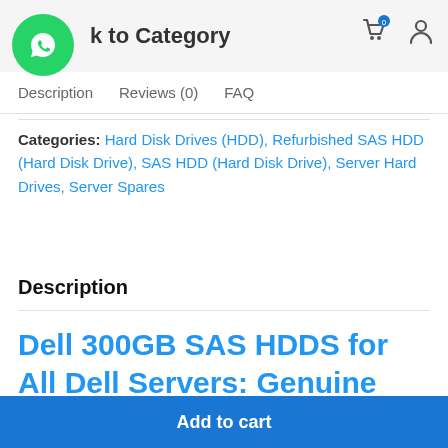Back to Category
[Figure (logo): WhatsApp green circular logo button]
[Figure (other): Shopping cart icon with badge showing 0, and user profile icon]
Description   Reviews (0)   FAQ
Categories: Hard Disk Drives (HDD), Refurbished SAS HDD (Hard Disk Drive), SAS HDD (Hard Disk Drive), Server Hard Drives, Server Spares
Description
Dell 300GB SAS HDDS for All Dell Servers: Genuine HDDS for Dell Rack,
Add to cart